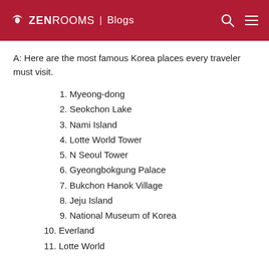🌿 ZENROOMS | Blogs
A: Here are the most famous Korea places every traveler must visit.
1. Myeong-dong
2. Seokchon Lake
3. Nami Island
4. Lotte World Tower
5. N Seoul Tower
6. Gyeongbokgung Palace
7. Bukchon Hanok Village
8. Jeju Island
9. National Museum of Korea
10. Everland
11. Lotte World